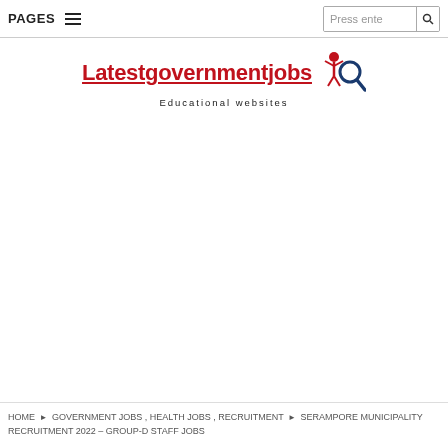PAGES  |  Press ente [search]
[Figure (logo): Latestgovernmentjobs logo with red text, figure icon, and magnifying glass. Subtitle reads 'Educational websites']
HOME › GOVERNMENT JOBS , HEALTH JOBS , RECRUITMENT › SERAMPORE MUNICIPALITY RECRUITMENT 2022 – GROUP-D STAFF JOBS